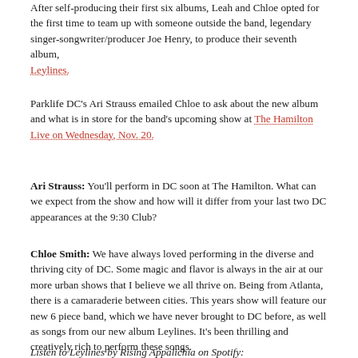After self-producing their first six albums, Leah and Chloe opted for the first time to team up with someone outside the band, legendary singer-songwriter/producer Joe Henry, to produce their seventh album, Leylines.
Parklife DC's Ari Strauss emailed Chloe to ask about the new album and what is in store for the band's upcoming show at The Hamilton Live on Wednesday, Nov. 20.
Ari Strauss: You'll perform in DC soon at The Hamilton. What can we expect from the show and how will it differ from your last two DC appearances at the 9:30 Club?
Chloe Smith: We have always loved performing in the diverse and thriving city of DC. Some magic and flavor is always in the air at our more urban shows that I believe we all thrive on. Being from Atlanta, there is a camaraderie between cities. This years show will feature our new 6 piece band, which we have never brought to DC before, as well as songs from our new album Leylines. It's been thrilling and creatively rich to perform these songs.
Listen to Leylines by Rising Appalichia on Spotify: